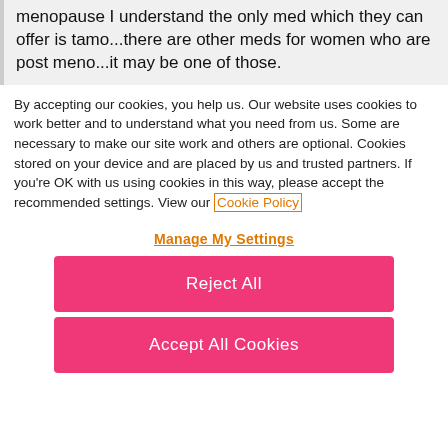menopause I understand the only med which they can offer is tamo...there are other meds for women who are post meno...it may be one of those.
By accepting our cookies, you help us. Our website uses cookies to work better and to understand what you need from us. Some are necessary to make our site work and others are optional. Cookies stored on your device and are placed by us and trusted partners. If you're OK with us using cookies in this way, please accept the recommended settings. View our Cookie Policy
Manage My Settings
Reject All
Accept All Cookies